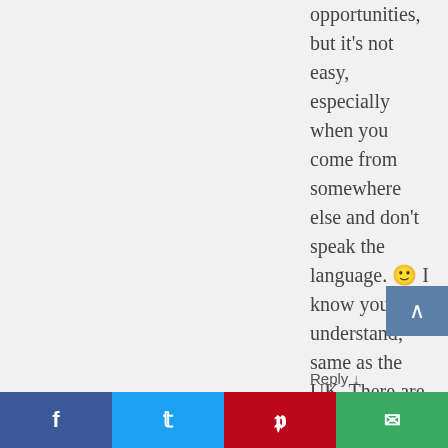opportunities, but it's not easy, especially when you come from somewhere else and don't speak the language. 🙂 I know you understand; same as the UK. There are many privileges, but no gold streets on any continent down here.
Reply ↓
11.
[Figure (photo): Avatar photo of commenter jdukeslee]
jdukeslee
July 18, 2014 at 8:41 am
Yes. So much yes.

Beautiful, my friend.
[Figure (infographic): Social share bar with Facebook, Twitter, Pinterest, and email buttons at the bottom of the page]